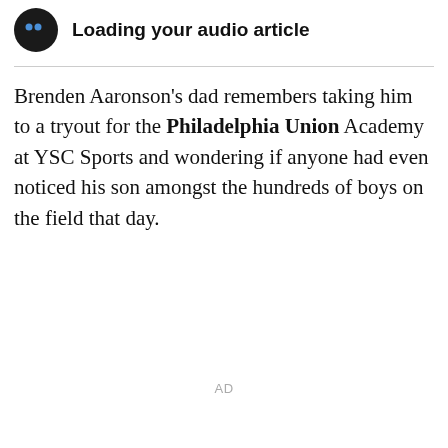[Figure (illustration): Audio article player UI with a dark circular icon showing two blue dots and a speaker/audio symbol, with bold text 'Loading your audio article']
Brenden Aaronson's dad remembers taking him to a tryout for the Philadelphia Union Academy at YSC Sports and wondering if anyone had even noticed his son amongst the hundreds of boys on the field that day.
AD